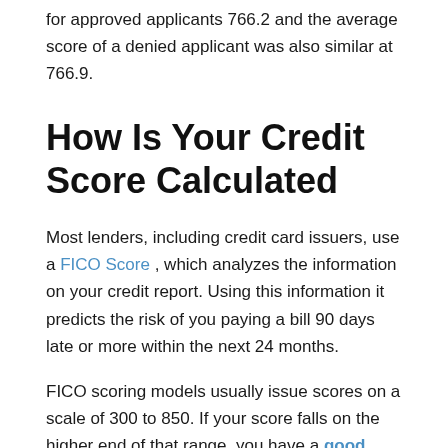overall score of all applicants was nearly the same as that for approved applicants 766.2 and the average score of a denied applicant was also similar at 766.9.
How Is Your Credit Score Calculated
Most lenders, including credit card issuers, use a FICO Score , which analyzes the information on your credit report. Using this information it predicts the risk of you paying a bill 90 days late or more within the next 24 months.
FICO scoring models usually issue scores on a scale of 300 to 850. If your score falls on the higher end of that range, you have a good credit score . The higher the score, the less risky you appear to potential lenders. The lower the score